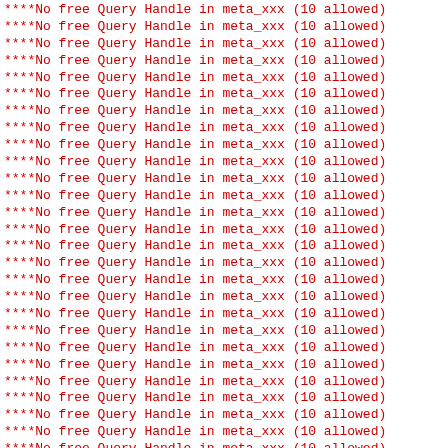****No free Query Handle in meta_xxx (10 allowed) (repeated ~31 times, first line partially cut off at top)